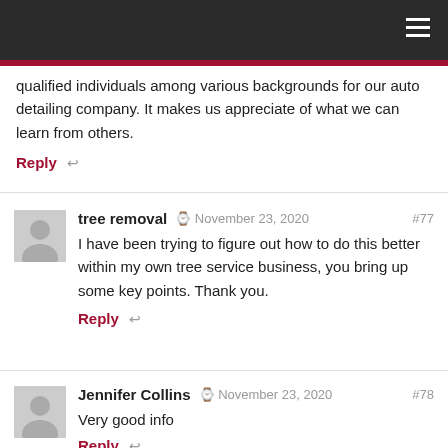qualified individuals among various backgrounds for our auto detailing company. It makes us appreciate of what we can learn from others.
Reply
tree removal  November 23, 2020  #77
I have been trying to figure out how to do this better within my own tree service business, you bring up some key points. Thank you.
Reply
Jennifer Collins  November 23, 2020  #78
Very good info
Reply